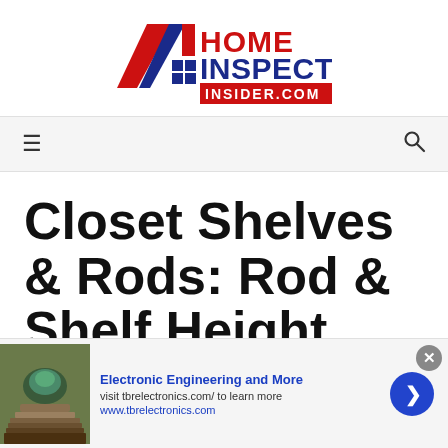[Figure (logo): Home Inspection Insider.com logo with red and blue diagonal stripes and grid squares]
Navigation bar with hamburger menu icon and search icon
Closet Shelves & Rods: Rod & Shelf Height, Spacing & Design Tips
[Figure (infographic): Advertisement banner: Electronic Engineering and More - visit tbrelectronics.com/ to learn more - www.tbrelectronics.com]